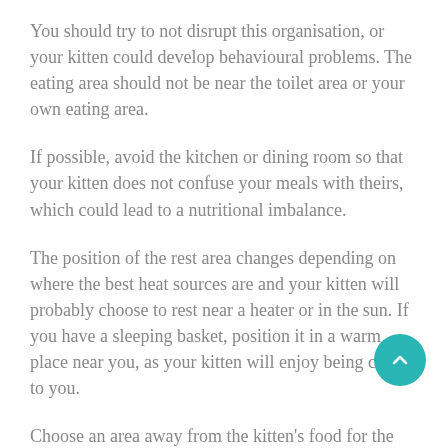You should try to not disrupt this organisation, or your kitten could develop behavioural problems. The eating area should not be near the toilet area or your own eating area.
If possible, avoid the kitchen or dining room so that your kitten does not confuse your meals with theirs, which could lead to a nutritional imbalance.
The position of the rest area changes depending on where the best heat sources are and your kitten will probably choose to rest near a heater or in the sun. If you have a sleeping basket, position it in a warm place near you, as your kitten will enjoy being close to you.
Choose an area away from the kitten's food for the toilet area. The litter box should be easily accessible. If necessary, have a few positioned around the house. Gradually move the litter closer to the door and then outside if you would like to train your kitten to eliminate outside.
The play area is the largest of the four and ideally provides